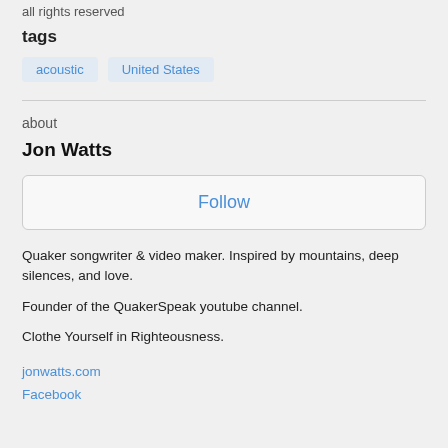all rights reserved
tags
acoustic
United States
about
Jon Watts
Follow
Quaker songwriter & video maker. Inspired by mountains, deep silences, and love.
Founder of the QuakerSpeak youtube channel.
Clothe Yourself in Righteousness.
jonwatts.com
Facebook